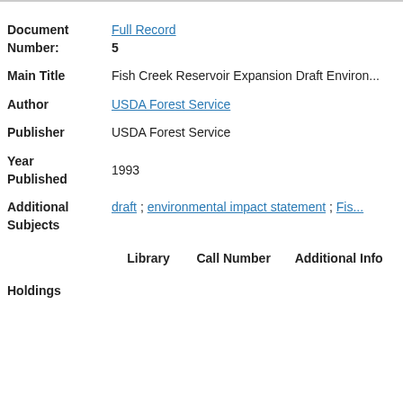| Field | Value |
| --- | --- |
| Document Number: | Full Record
5 |
| Main Title | Fish Creek Reservoir Expansion Draft Environ... |
| Author | USDA Forest Service |
| Publisher | USDA Forest Service |
| Year Published | 1993 |
| Additional Subjects | draft ; environmental impact statement ; Fis... |
| Holdings | Library | Call Number | Additional Info |